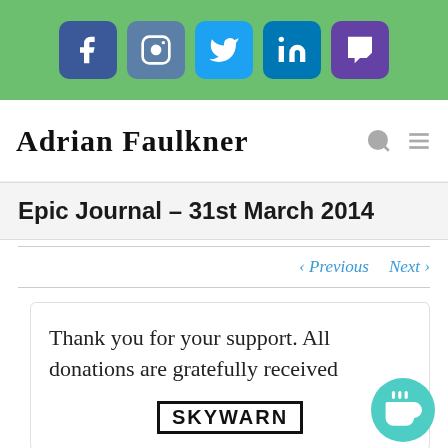[Figure (infographic): Social media icon bar with Facebook, Instagram, Twitter, LinkedIn, and Twitch icons on a green background]
ADRIAN FAULKNER
Epic Journal – 31st March 2014
‹ Previous   Next ›
Thank you for your support. All donations are gratefully received
[Figure (logo): SKYWARN logo text in black]